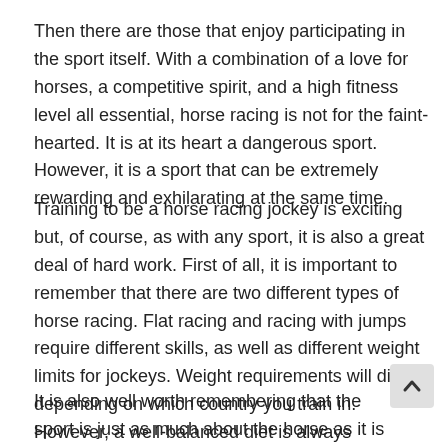Then there are those that enjoy participating in the sport itself. With a combination of a love for horses, a competitive spirit, and a high fitness level all essential, horse racing is not for the faint-hearted. It is at its heart a dangerous sport. However, it is a sport that can be extremely rewarding and exhilarating at the same time.
Training to be a horse racing jockey is exciting but, of course, as with any sport, it is also a great deal of hard work. First of all, it is important to remember that there are two different types of horse racing. Flat racing and racing with jumps require different skills, as well as different weight limits for jockeys. Weight requirements will differ depending on which country you train in. However, a well-balanced diet is always necessary to keep riders fit and healthy.
It is also well worth remembering that the sport is just as much about the horse as it is the rider. It is therefore crucial that a jockey is a keen horse racing person with a depth of knowledge about the nature, breeds, and care of horses.